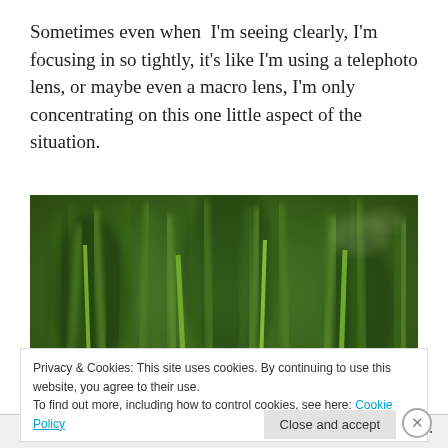Sometimes even when  I'm seeing clearly, I'm focusing in so tightly, it's like I'm using a telephoto lens, or maybe even a macro lens, I'm only concentrating on this one little aspect of the situation.
[Figure (photo): Close-up macro photo of green grass blades, blurred background, taken with a macro or telephoto lens]
Privacy & Cookies: This site uses cookies. By continuing to use this website, you agree to their use.
To find out more, including how to control cookies, see here: Cookie Policy
Close and accept
Follow